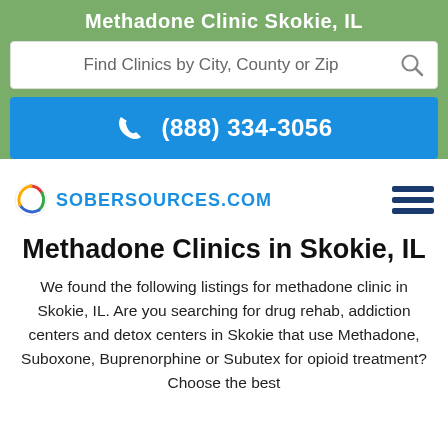Methadone Clinic Skokie, IL
[Figure (screenshot): Search bar with placeholder text 'Find Clinics by City, County or Zip' and a magnifying glass icon]
[Figure (infographic): Blue button with phone icon and number (888) 334-3056]
[Figure (logo): SoberSources.com logo with circular icon and hamburger menu]
Methadone Clinics in Skokie, IL
We found the following listings for methadone clinic in Skokie, IL. Are you searching for drug rehab, addiction centers and detox centers in Skokie that use Methadone, Suboxone, Buprenorphine or Subutex for opioid treatment? Choose the best